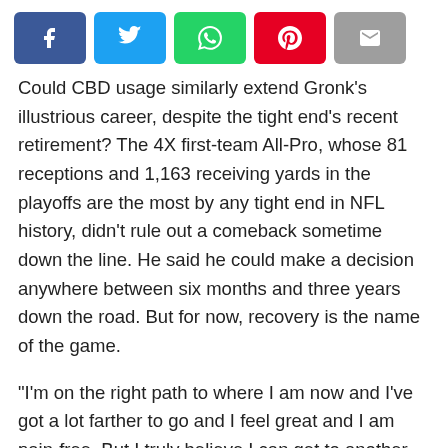[Figure (other): Social sharing buttons row: Facebook (blue), Twitter (light blue), WhatsApp (green), Pinterest (red), Email (gray)]
Could CBD usage similarly extend Gronk's illustrious career, despite the tight end's recent retirement? The 4X first-team All-Pro, whose 81 receptions and 1,163 receiving yards in the playoffs are the most by any tight end in NFL history, didn't rule out a comeback sometime down the line. He said he could make a decision anywhere between six months and three years down the road. But for now, recovery is the name of the game.
“I’m on the right path to where I am now and I’ve got a lot farther to go and I feel great and I am pain-free. But I truly believe I can get to another level with my body and I’m just in the first stage right now,” he said.